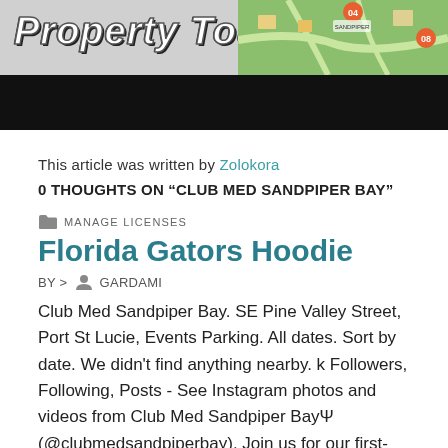[Figure (screenshot): Banner image showing 'Property Tour' text in stylized font on left with a map/aerial view graphic on right, below which is a black bar.]
This article was written by Zolokora
0 THOUGHTS ON “CLUB MED SANDPIPER BAY”
MANAGE LICENSES
Florida Gators Hoodie
BY > GARDAMI
Club Med Sandpiper Bay. SE Pine Valley Street, Port St Lucie, Events Parking. All dates. Sort by date. We didn't find anything nearby. k Followers, Following, Posts - See Instagram photos and videos from Club Med Sandpiper BayΨ (@clubmedsandpiperbay). Join us for our first-ever